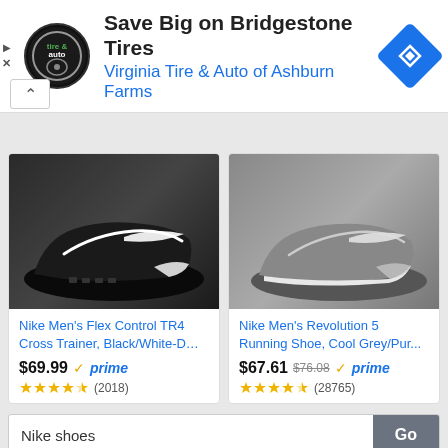[Figure (screenshot): Advertisement banner for Virginia Tire & Auto of Ashburn Farms showing Bridgestone Tires promotion with logo and navigation icon]
[Figure (photo): Nike Men's Flex Control TR4 Cross Trainer shoe in black/white, showing bottom and side of shoe]
Nike Men's Flex Control TR4 Cross Trainer, Black/White-D…
$69.99 ✓prime
★★★★☆ (2018)
[Figure (photo): Nike Men's Revolution 5 Running Shoe in Cool Grey/Purple, showing bottom and side of shoe]
Nike Men's Revolution 5 Running Shoe, Cool Grey/Pur...
$67.61  $76.08  ✓prime
★★★★☆ (28765)
Nike shoes
Go
Ads by Amazon ▷